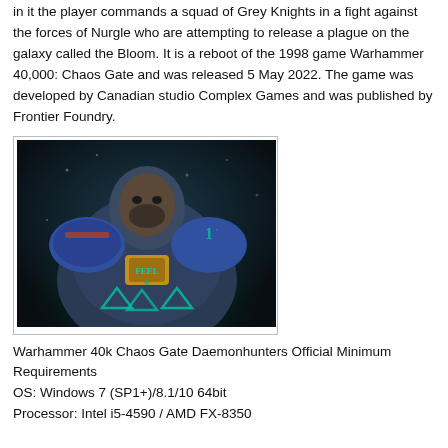in it the player commands a squad of Grey Knights in a fight against the forces of Nurgle who are attempting to release a plague on the galaxy called the Bloom. It is a reboot of the 1998 game Warhammer 40,000: Chaos Gate and was released 5 May 2022. The game was developed by Canadian studio Complex Games and was published by Frontier Foundry.
[Figure (photo): Screenshot or promotional image from Warhammer 40k Chaos Gate Daemonhunters showing a Grey Knight space marine in detailed armor with glowing teal runes and dark background.]
Warhammer 40k Chaos Gate Daemonhunters Official Minimum Requirements
OS: Windows 7 (SP1+)/8.1/10 64bit
Processor: Intel i5-4590 / AMD FX-8350